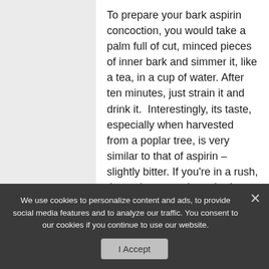To prepare your bark aspirin concoction, you would take a palm full of cut, minced pieces of inner bark and simmer it, like a tea, in a cup of water. After ten minutes, just strain it and drink it.  Interestingly, its taste, especially when harvested from a poplar tree, is very similar to that of aspirin – slightly bitter. If you're in a rush, the moist, green inner bark can simply be chewed.
The wilderness is your medicine cabinet
The wilderness is abundant with natural remedies. Your enjoyment, and ultimately, your survival, in the wilderness will be enhanced greatly by increasing your
We use cookies to personalize content and ads, to provide social media features and to analyze our traffic. You consent to our cookies if you continue to use our website.